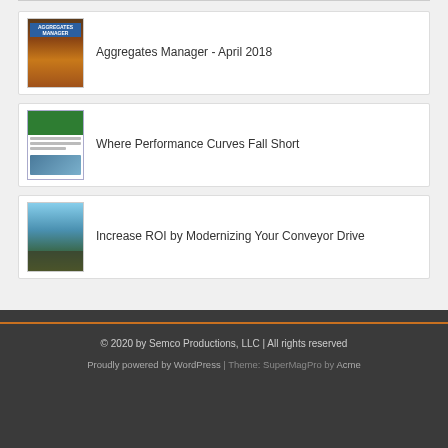Aggregates Manager - April 2018
Where Performance Curves Fall Short
Increase ROI by Modernizing Your Conveyor Drive
© 2020 by Semco Productions, LLC | All rights reserved
Proudly powered by WordPress | Theme: SuperMagPro by Acme